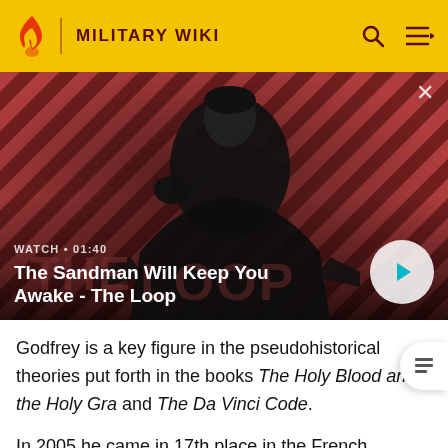MILITARY WIKI
[Figure (screenshot): Video thumbnail showing a dark-cloaked figure with a raven on their shoulder against a red and black diagonal striped background. Overlaid text: WATCH • 01:40, The Sandman Will Keep You Awake - The Loop. Play button visible on right.]
Godfrey is a key figure in the pseudohistorical theories put forth in the books The Holy Blood and the Holy Gra and The Da Vinci Code.
In 2005 he came in 17th place in the French language Le plus grand Belge, a public vote of national heroes in